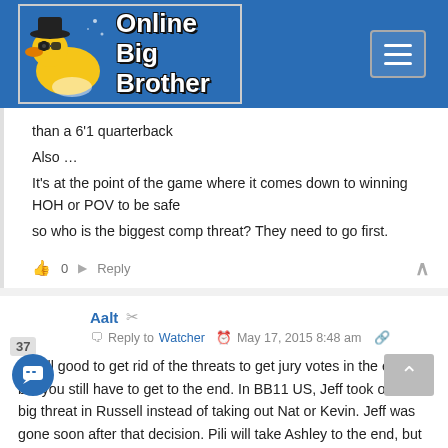[Figure (logo): Online Big Brother website logo with rubber duck wearing sunglasses and hat on blue background]
than a 6'1 quarterback
Also ...
It's at the point of the game where it comes down to winning HOH or POV to be safe
so who is the biggest comp threat? They need to go first.
0   Reply
Aalt   Reply to Watcher   May 17, 2015 8:48 am
It's all good to get rid of the threats to get jury votes in the end, but you still have to get to the end. In BB11 US, Jeff took out a big threat in Russell instead of taking out Nat or Kevin. Jeff was gone soon after that decision. Pili will take Ashley to the end, but that's it. For Ashley to